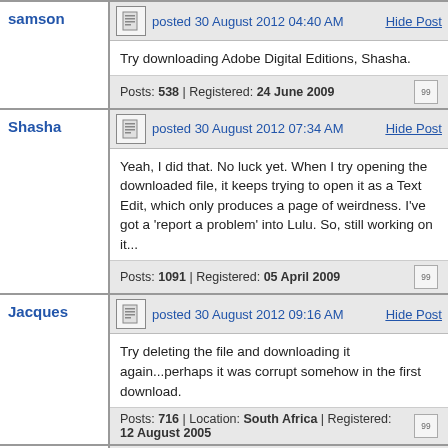samson | posted 30 August 2012 04:40 AM | Hide Post
Try downloading Adobe Digital Editions, Shasha.
Posts: 538 | Registered: 24 June 2009
Shasha | posted 30 August 2012 07:34 AM | Hide Post
Yeah, I did that. No luck yet. When I try opening the downloaded file, it keeps trying to open it as a Text Edit, which only produces a page of weirdness. I've got a 'report a problem' into Lulu. So, still working on it...
Posts: 1091 | Registered: 05 April 2009
Jacques | posted 30 August 2012 09:16 AM | Hide Post
Try deleting the file and downloading it again...perhaps it was corrupt somehow in the first download.
Posts: 716 | Location: South Africa | Registered: 12 August 2005
Phil | posted 30 August 2012 09:24 AM | Hide Post
Shasha, can you locate the file? It's supposed to be a pdf, and so Preview would be the application used